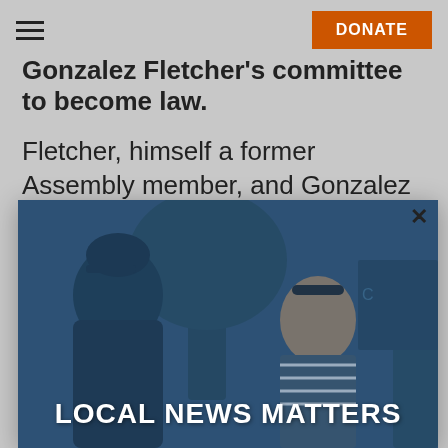DONATE
Gonzalez Fletcher's committee to become law.
Fletcher, himself a former Assembly member, and Gonzalez Fletcher have said he boasts
[Figure (photo): A photo of people conversing outdoors near a tree, with a blue overlay tint. A person in a cap is seen from behind, facing a woman in a striped shirt wearing sunglasses on her head. Another figure is partially visible on the right.]
LOCAL NEWS MATTERS